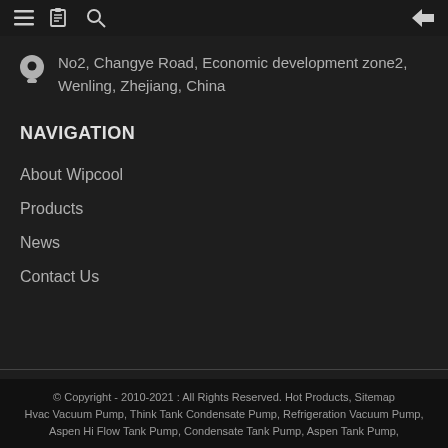Navigation icons top bar
No2, Changye Road, Economic development zone2, Wenling, Zhejiang, China
NAVIGATION
About Wipcool
Products
News
Contact Us
© Copyright - 2010-2021 : All Rights Reserved. Hot Products, Sitemap Hvac Vacuum Pump, Think Tank Condensate Pump, Refrigeration Vacuum Pump, Aspen Hi Flow Tank Pump, Condensate Tank Pump, Aspen Tank Pump,